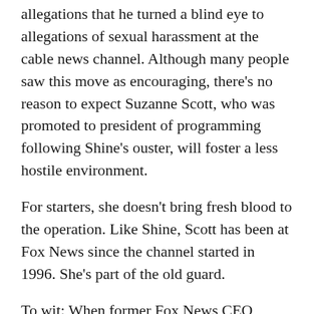allegations that he turned a blind eye to allegations of sexual harassment at the cable news channel. Although many people saw this move as encouraging, there's no reason to expect Suzanne Scott, who was promoted to president of programming following Shine's ouster, will foster a less hostile environment.
For starters, she doesn't bring fresh blood to the operation. Like Shine, Scott has been at Fox News since the channel started in 1996. She's part of the old guard.
To wit: When former Fox News CEO Roger Ailes added miniskirts to the dress code for female employees, he reportedly turned to Scott to